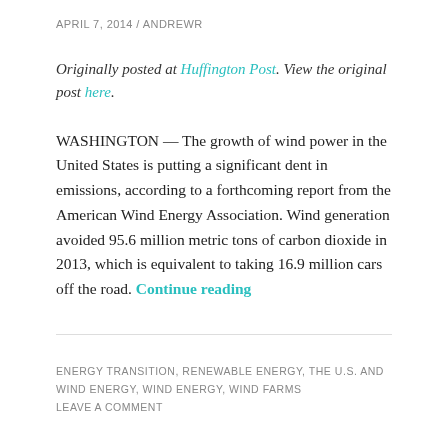APRIL 7, 2014 / ANDREWR
Originally posted at Huffington Post. View the original post here.
WASHINGTON — The growth of wind power in the United States is putting a significant dent in emissions, according to a forthcoming report from the American Wind Energy Association. Wind generation avoided 95.6 million metric tons of carbon dioxide in 2013, which is equivalent to taking 16.9 million cars off the road. Continue reading
ENERGY TRANSITION, RENEWABLE ENERGY, THE U.S. AND WIND ENERGY, WIND ENERGY, WIND FARMS
LEAVE A COMMENT